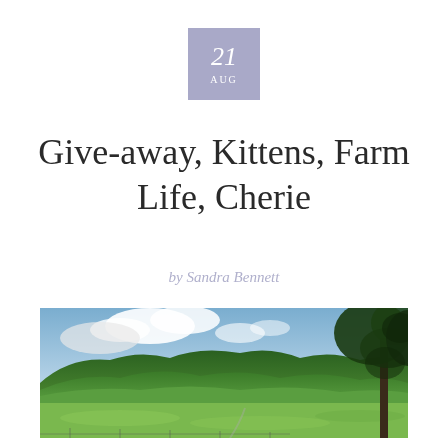21 AUG
Give-away, Kittens, Farm Life, Cherie
by Sandra Bennett
[Figure (photo): Scenic rural landscape with green fields in the foreground, rolling green hills/mountains in the background, partly cloudy blue sky, and a large tree on the right edge]